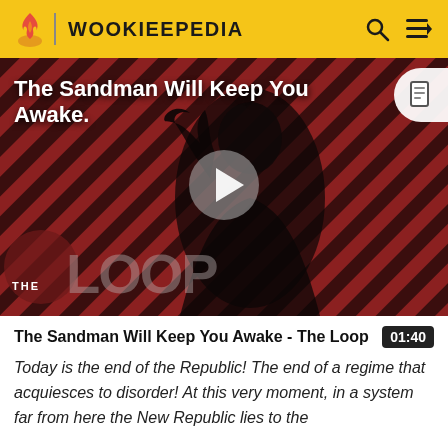WOOKIEEPEDIA
[Figure (screenshot): Video thumbnail showing a figure in black clothing against a red and black diagonal striped background. Overlaid text reads 'The Sandman Will Keep You Awake.' with a play button in the center and 'THE LOOP' logo in the lower left corner.]
The Sandman Will Keep You Awake - The Loop
Today is the end of the Republic! The end of a regime that acquiesces to disorder! At this very moment, in a system far from here the New Republic lies to the